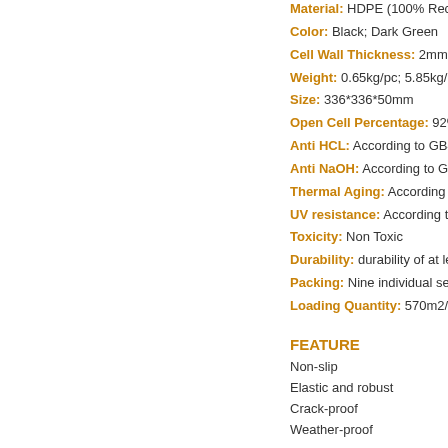Material: HDPE (100% Recy...
Color: Black; Dark Green
Cell Wall Thickness: 2mm
Weight: 0.65kg/pc; 5.85kg/m...
Size: 336*336*50mm
Open Cell Percentage: 92%...
Anti HCL: According to GB4...
Anti NaOH: According to GB...
Thermal Aging: According t...
UV resistance: According to...
Toxicity: Non Toxic
Durability: durability of at lea...
Packing: Nine individual sec...
Loading Quantity: 570m2/2...
FEATURE
Non-slip
Elastic and robust
Crack-proof
Weather-proof...